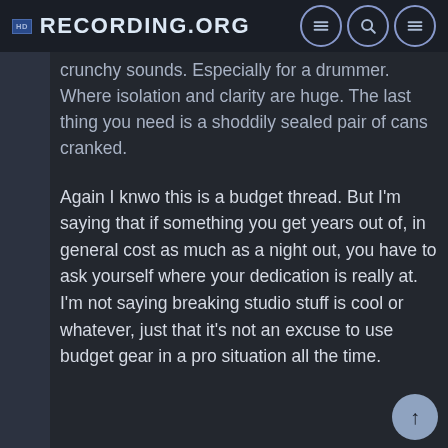Recording.org
crunchy sounds. Especially for a drummer. Where isolation and clarity are huge. The last thing you need is a shoddily sealed pair of cans cranked.
Again I knwo this is a budget thread. But I'm saying that if something you get years out of, in general cost as much as a night out, you have to ask yourself where your dedication is really at. I'm not saying breaking studio stuff is cool or whatever, just that it's not an excuse to use budget gear in a pro situation all the time.